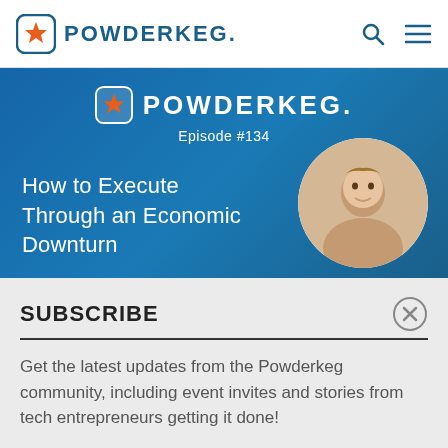[Figure (logo): Powderkeg logo in navigation bar with orange star icon and blue text]
[Figure (screenshot): Powderkeg podcast episode #134 hero banner with title 'How to Execute Through an Economic Downturn' and circular headshot of a man on blue background]
SUBSCRIBE
Get the latest updates from the Powderkeg community, including event invites and stories from tech entrepreneurs getting it done!
Enter Your Email  SIGN UP